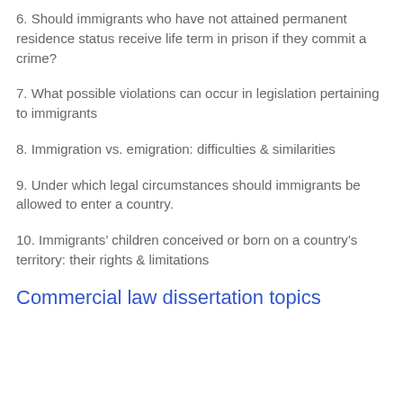6. Should immigrants who have not attained permanent residence status receive life term in prison if they commit a crime?
7. What possible violations can occur in legislation pertaining to immigrants
8. Immigration vs. emigration: difficulties & similarities
9. Under which legal circumstances should immigrants be allowed to enter a country.
10. Immigrants’ children conceived or born on a country’s territory: their rights & limitations
Commercial law dissertation topics